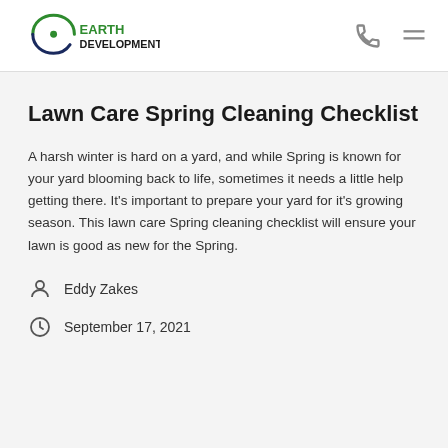Earth Development
Lawn Care Spring Cleaning Checklist
A harsh winter is hard on a yard, and while Spring is known for your yard blooming back to life, sometimes it needs a little help getting there. It's important to prepare your yard for it's growing season. This lawn care Spring cleaning checklist will ensure your lawn is good as new for the Spring.
Eddy Zakes
September 17, 2021